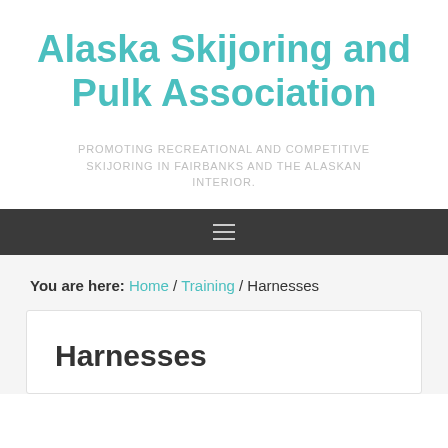Alaska Skijoring and Pulk Association
PROMOTING RECREATIONAL AND COMPETITIVE SKIJORING IN FAIRBANKS AND THE ALASKAN INTERIOR.
≡
You are here: Home / Training / Harnesses
Harnesses